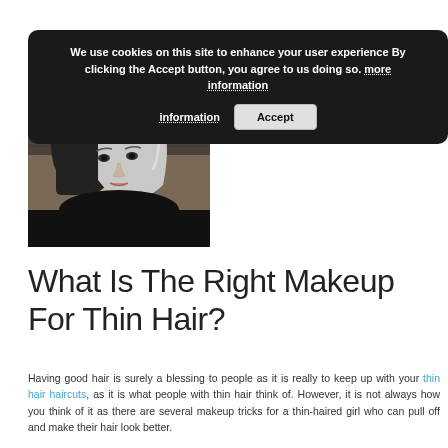Home
We use cookies on this site to enhance your user experience By clicking the Accept button, you agree to us doing so. more information  Accept
[Figure (photo): Woman with short silver-grey and dark bob haircut wearing black top]
What Is The Right Makeup For Thin Hair?
Having good hair is surely a blessing to people as it is really to keep up with your thin hair haircuts, as it is what people with thin hair think of. However, it is not always how you think of it as there are several makeup tricks for a thin-haired girl who can pull off and make their hair look better.